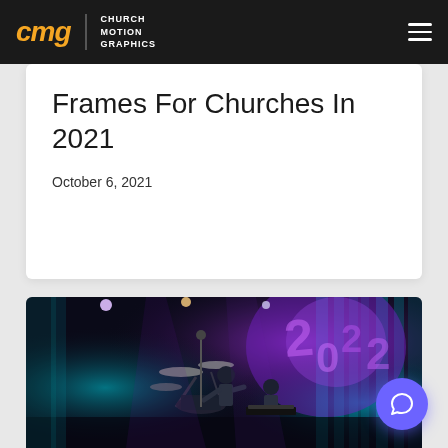CMG | CHURCH MOTION GRAPHICS
Frames For Churches In 2021
October 6, 2021
[Figure (photo): Concert/worship band performance photo with dramatic purple and teal stage lighting, drummer visible, large LED screen displays in background with futuristic graphics]